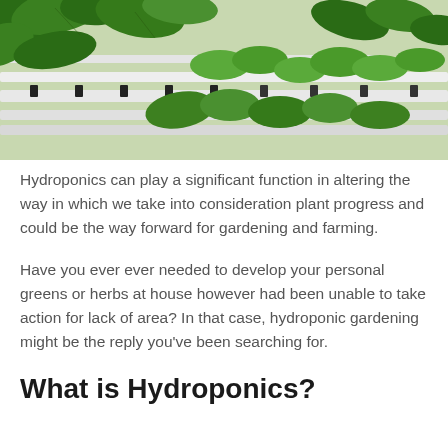[Figure (photo): Photograph of rows of green leafy plants (basil/herbs) growing in white hydroponic trays in an indoor hydroponic farm setting.]
Hydroponics can play a significant function in altering the way in which we take into consideration plant progress and could be the way forward for gardening and farming.
Have you ever ever needed to develop your personal greens or herbs at house however had been unable to take action for lack of area? In that case, hydroponic gardening might be the reply you've been searching for.
What is Hydroponics?